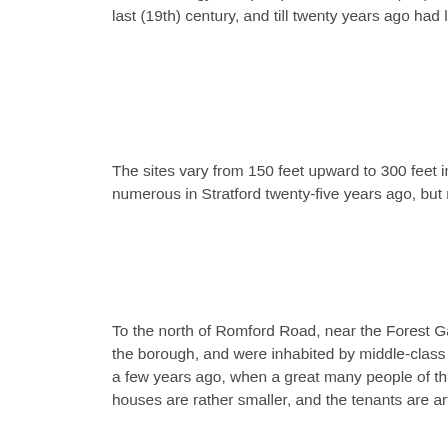doctors, clergy, and prosperous business people live. Many of these houses are of the type built at the beginning of the last (19th) century, and till twenty years ago had long gardens with orchards. Gardens of the size of a tennis court remain.
The sites vary from 150 feet upward to 300 feet in depth, and there are back entrances in many cases. Such houses were numerous in Stratford twenty-five years ago, but most of them have disappeared to make way for smaller property.
To the north of Romford Road, near the Forest Gate station are five roads, which until ten years ago were the best part of the borough, and were inhabited by middle-class people, such as lived on the Woodgrange Estate in the Upton ward until a few years ago, when a great many people of this class moved to Ilford or father east. Westwards, towards Stratford, the houses are rather smaller, and the tenants are artisans and small tradespeople.